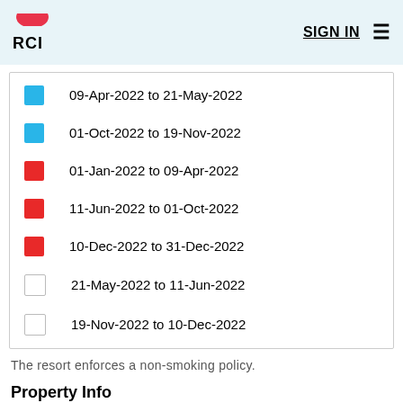RCI  SIGN IN
09-Apr-2022 to 21-May-2022
01-Oct-2022 to 19-Nov-2022
01-Jan-2022 to 09-Apr-2022
11-Jun-2022 to 01-Oct-2022
10-Dec-2022 to 31-Dec-2022
21-May-2022 to 11-Jun-2022
19-Nov-2022 to 10-Dec-2022
The resort enforces a non-smoking policy.
Property Info